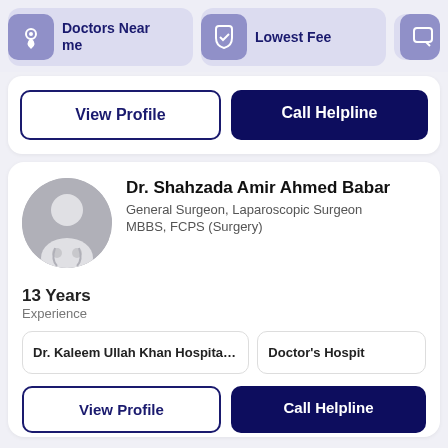[Figure (infographic): Navigation bar with 'Doctors Near me' button (location icon), 'Lowest Fee' button (shield icon), and a partially visible third button]
View Profile
Call Helpline
Dr. Shahzada Amir Ahmed Babar
General Surgeon, Laparoscopic Surgeon
MBBS, FCPS (Surgery)
13 Years
Experience
Dr. Kaleem Ullah Khan Hospital (Air...
Doctor's Hospit
View Profile
Call Helpline